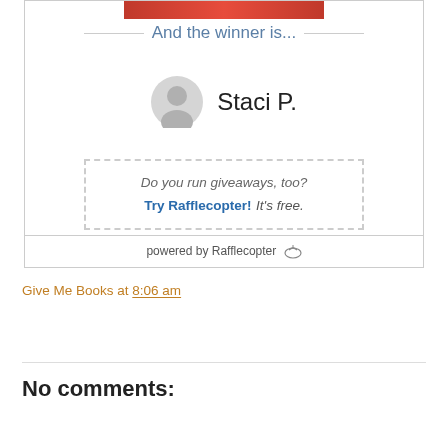[Figure (screenshot): Rafflecopter giveaway widget showing winner announcement. Top has a red banner image strip, then 'And the winner is...' heading in blue with horizontal rule lines, then a gray avatar icon next to 'Staci P.' in large text, then a dashed box with italic text 'Do you run giveaways, too?' and a bold blue link 'Try Rafflecopter!' followed by italic 'It's free.' At the bottom is a 'powered by Rafflecopter' footer with a small icon.]
Give Me Books at 8:06 am
Share
No comments:
Post a Comment